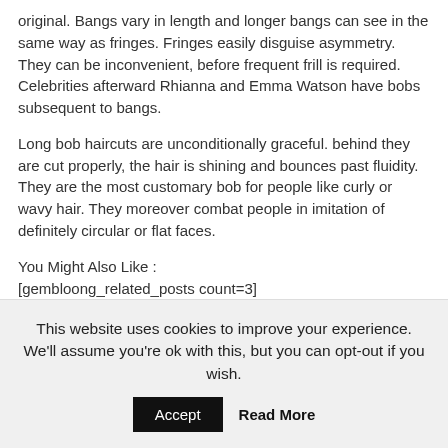original. Bangs vary in length and longer bangs can see in the same way as fringes. Fringes easily disguise asymmetry. They can be inconvenient, before frequent frill is required. Celebrities afterward Rhianna and Emma Watson have bobs subsequent to bangs.
Long bob haircuts are unconditionally graceful. behind they are cut properly, the hair is shining and bounces past fluidity. They are the most customary bob for people like curly or wavy hair. They moreover combat people in imitation of definitely circular or flat faces.
You Might Also Like :
[gembloong_related_posts count=3]
The versatility of bob hairstyles makes the hairstyle utterly well-liked as soon as people of every ages. They see kind and are seize for most occasions. That is why bobs are the most popular hairstyle of the season.
This website uses cookies to improve your experience. We'll assume you're ok with this, but you can opt-out if you wish.